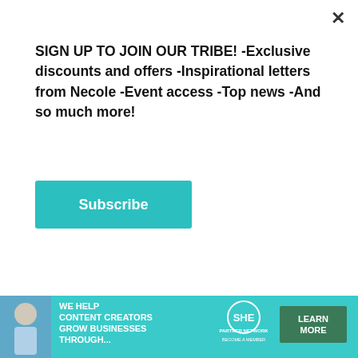SIGN UP TO JOIN OUR TRIBE! -Exclusive discounts and offers -Inspirational letters from Necole -Event access -Top news -And so much more!
×
Subscribe
[Figure (photo): A young Black woman seated on a brick surface outdoors, wearing a beige t-shirt reading 'Black is Beautiful' and a black skirt, posing in front of a tan wall with metal railings.]
[Figure (infographic): Advertisement banner: 'WE HELP CONTENT CREATORS GROW BUSINESSES THROUGH...' with SHE Partner Network logo and 'LEARN MORE' button on teal background.]